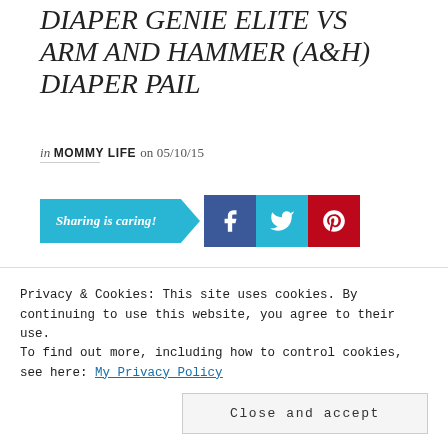DIAPER GENIE ELITE VS ARM AND HAMMER (A&H) DIAPER PAIL
in MOMMY LIFE on 05/10/15
[Figure (infographic): Sharing is caring! social sharing bar with Facebook, Twitter, and Pinterest buttons]
When pregnant with my first born I read A LOT of baby books, magazines and articles. It was my first baby and I had to make sure I had everything
Privacy & Cookies: This site uses cookies. By continuing to use this website, you agree to their use.
To find out more, including how to control cookies, see here: My Privacy Policy
Close and accept
we bought one. I read that it had an odor lock